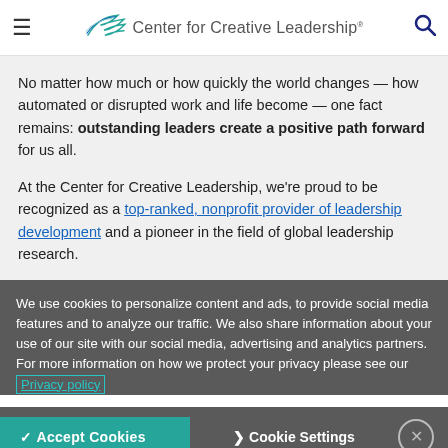Center for Creative Leadership
No matter how much or how quickly the world changes — how automated or disrupted work and life become — one fact remains: outstanding leaders create a positive path forward for us all.
At the Center for Creative Leadership, we're proud to be recognized as a top-ranked, nonprofit provider of leadership development and a pioneer in the field of global leadership research.
We use cookies to personalize content and ads, to provide social media features and to analyze our traffic. We also share information about your use of our site with our social media, advertising and analytics partners. For more information on how we protect your privacy please see our Privacy policy
✓ Accept Cookies  ❯ Cookie Settings  ✕